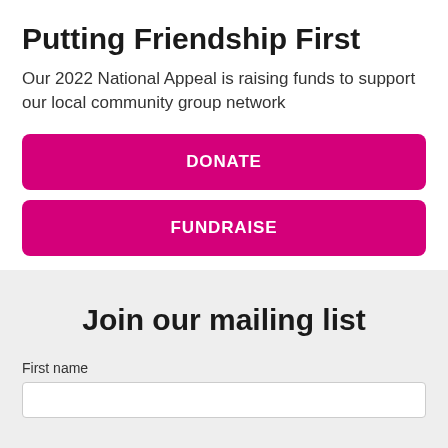Putting Friendship First
Our 2022 National Appeal is raising funds to support our local community group network
DONATE
FUNDRAISE
Join our mailing list
First name